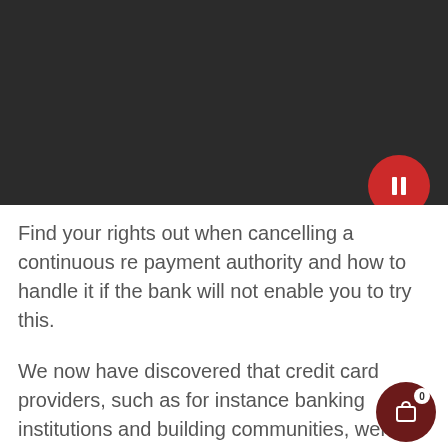[Figure (screenshot): Dark video player header with pause button (red circle with two white vertical bars) in bottom-right area]
Find your rights out when cancelling a continuous re payment authority and how to handle it if the bank will not enable you to try this.
We now have discovered that credit card providers, such as for instance banking institutions and building communities, weren't constantly cancelling payments that are continuous whenever their clients asked